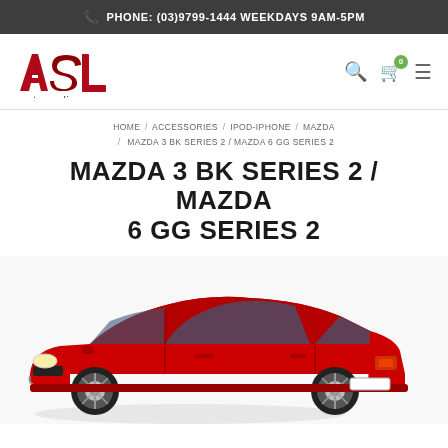PHONE: (03)9799-1444 WEEKDAYS 9AM-5PM
[Figure (logo): ASL Automedia logo in red and dark red with 'automedia' text below]
HOME / ACCESSORIES / IPOD-IPHONE / MAZDA / MAZDA 3 BK SERIES 2 / MAZDA 6 GG SERIES 2
MAZDA 3 BK SERIES 2 / MAZDA 6 GG SERIES 2
[Figure (photo): Red Mazda 6 GG Series 2 sedan photographed from front-left angle on white background]